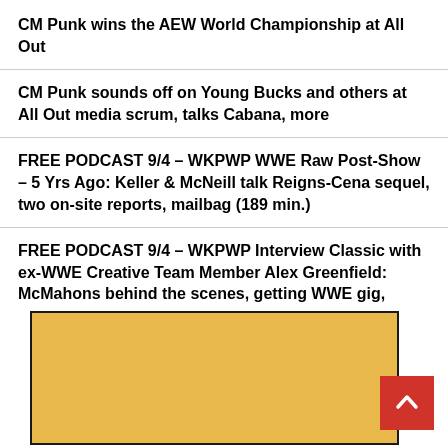CM Punk wins the AEW World Championship at All Out
CM Punk sounds off on Young Bucks and others at All Out media scrum, talks Cabana, more
FREE PODCAST 9/4 – WKPWP WWE Raw Post-Show – 5 Yrs Ago: Keller & McNeill talk Reigns-Cena sequel, two on-site reports, mailbag (189 min.)
FREE PODCAST 9/4 – WKPWP Interview Classic with ex-WWE Creative Team Member Alex Greenfield: McMahons behind the scenes, getting WWE gig, Reigns-Cena segments, more (113 min.)
[Figure (other): Golden/yellow advertisement banner with black border at bottom of page. A red back-to-top button with white chevron arrow is visible in the bottom right corner.]